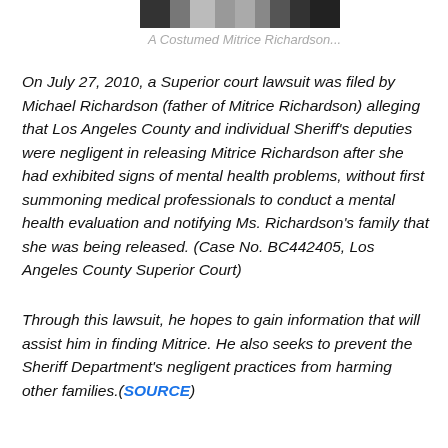[Figure (photo): Partial photo strip of a costumed Mitrice Richardson, cropped at top of page]
A Costumed Mitrice Richardson...
On July 27, 2010, a Superior court lawsuit was filed by Michael Richardson (father of Mitrice Richardson) alleging that Los Angeles County and individual Sheriff's deputies were negligent in releasing Mitrice Richardson after she had exhibited signs of mental health problems, without first summoning medical professionals to conduct a mental health evaluation and notifying Ms. Richardson's family that she was being released. (Case No. BC442405, Los Angeles County Superior Court)
Through this lawsuit, he hopes to gain information that will assist him in finding Mitrice. He also seeks to prevent the Sheriff Department's negligent practices from harming other families.(SOURCE)